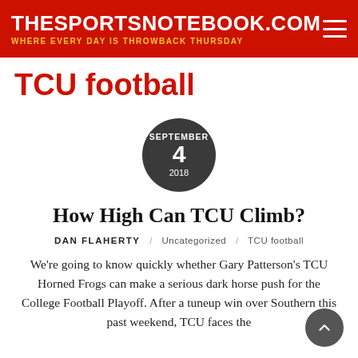THESPORTSNOTEBOOK.COM — WHERE EVERY DAY IS THROWBACK THURSDAY
TCU football
[Figure (other): Dark circular date badge showing SEPTEMBER 4 2018]
How High Can TCU Climb?
DAN FLAHERTY / Uncategorized / TCU football
We're going to know quickly whether Gary Patterson's TCU Horned Frogs can make a serious dark horse push for the College Football Playoff. After a tuneup win over Southern this past weekend, TCU faces the